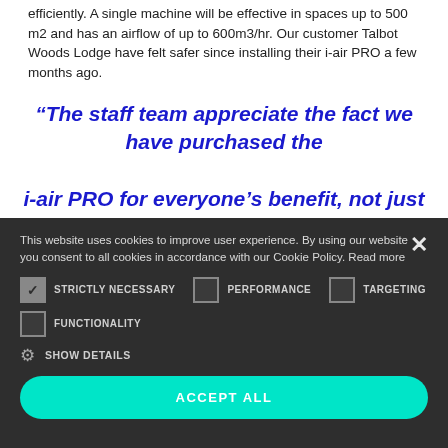efficiently.  A single machine will be effective in spaces up to 500 m2 and has an airflow of up to 600m3/hr.  Our customer Talbot Woods Lodge have felt safer since installing their i-air PRO a few months ago.
“The staff team appreciate the fact we have purchased the i-air PRO for everyone’s benefit, not just the clients”
This website uses cookies to improve user experience. By using our website you consent to all cookies in accordance with our Cookie Policy. Read more
STRICTLY NECESSARY  PERFORMANCE  TARGETING  FUNCTIONALITY  SHOW DETAILS  ACCEPT ALL